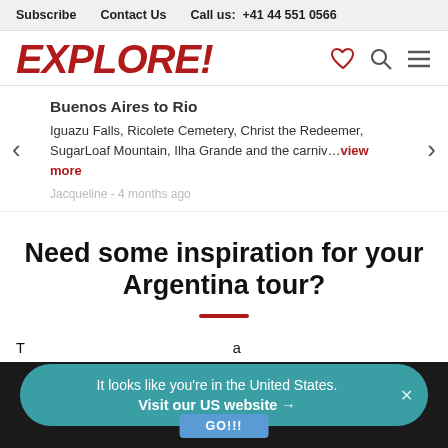Subscribe   Contact Us   Call us: +41 44 551 0566
EXPLORE!
Buenos Aires to Rio
Iguazu Falls, Ricolete Cemetery, Christ the Redeemer, SugarLoaf Mountain, Ilha Grande and the carniv...view more
Jacqueline - 4 months ago
Need some inspiration for your Argentina tour?
It looks like you're in the United States.
Visit our US website →